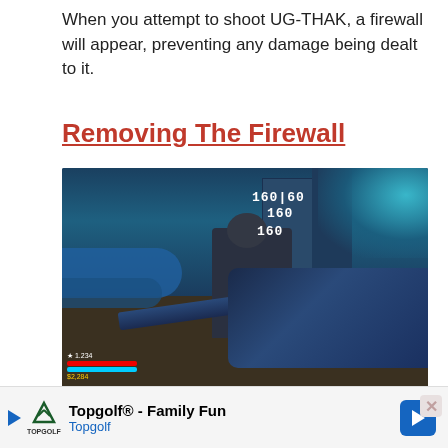When you attempt to shoot UG-THAK, a firewall will appear, preventing any damage being dealt to it.
Removing The Firewall
[Figure (screenshot): In-game screenshot from Borderlands showing a player shooting at an enemy character with damage numbers 160|60, 160, and 160 displayed on screen. The HUD shows health/shield bars and currency.]
While Edgren AKA the Lord Of Skags attempts to find a way to bypass the firewall, you will need to hold
Topgolf® - Family Fun Topgolf